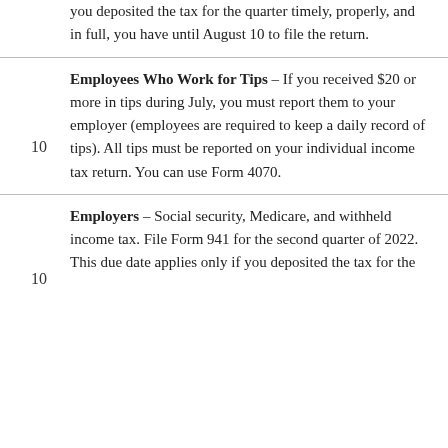you deposited the tax for the quarter timely, properly, and in full, you have until August 10 to file the return.
Employees Who Work for Tips – If you received $20 or more in tips during July, you must report them to your employer (employees are required to keep a daily record of tips). All tips must be reported on your individual income tax return. You can use Form 4070.
Employers – Social security, Medicare, and withheld income tax. File Form 941 for the second quarter of 2022. This due date applies only if you deposited the tax for the